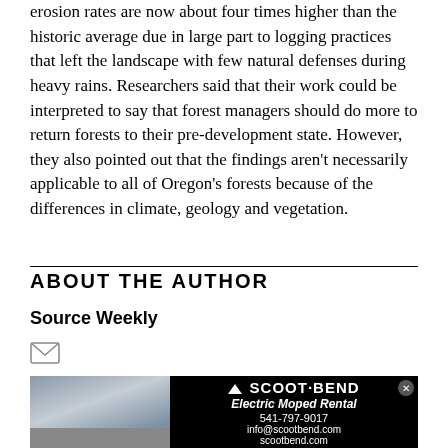erosion rates are now about four times higher than the historic average due in large part to logging practices that left the landscape with few natural defenses during heavy rains. Researchers said that their work could be interpreted to say that forest managers should do more to return forests to their pre-development state. However, they also pointed out that the findings aren't necessarily applicable to all of Oregon's forests because of the differences in climate, geology and vegetation.
ABOUT THE AUTHOR
Source Weekly
[Figure (photo): Advertisement for Scoot Bend Electric Moped Rental showing two scooters parked outside on the left, and on the right a black background with the Scoot Bend logo, 'Electric Moped Rental', phone number 541-797-9017, info@scootbend.com, scootbend.com]